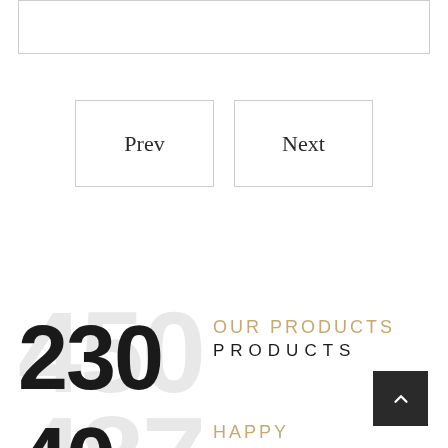[Figure (screenshot): Top bordered box (empty content area top border)]
Prev
Next
230 OUR PRODUCTS PRODUCTS
40 HAPPY